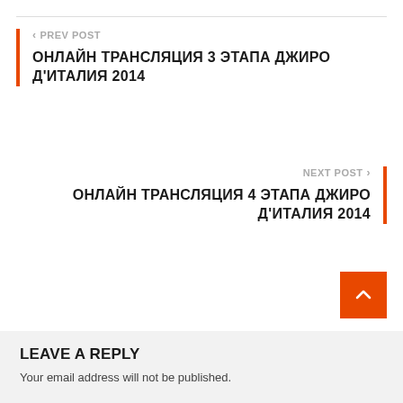< PREV POST
ОНЛАЙН ТРАНСЛЯЦИЯ 3 ЭТАПА ДЖИРО Д'ИТАЛИЯ 2014
NEXT POST >
ОНЛАЙН ТРАНСЛЯЦИЯ 4 ЭТАПА ДЖИРО Д'ИТАЛИЯ 2014
LEAVE A REPLY
Your email address will not be published.